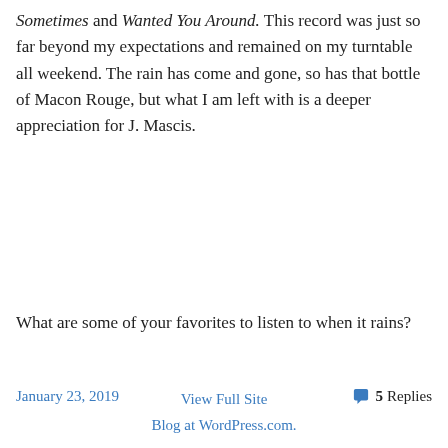Sometimes and Wanted You Around. This record was just so far beyond my expectations and remained on my turntable all weekend. The rain has come and gone, so has that bottle of Macon Rouge, but what I am left with is a deeper appreciation for J. Mascis.
What are some of your favorites to listen to when it rains?
January 23, 2019
5 Replies
View Full Site
Blog at WordPress.com.